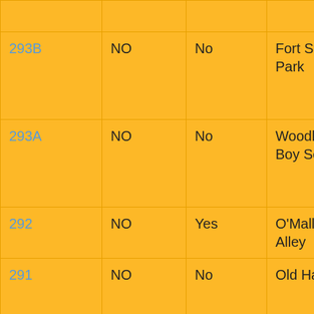| ID | NO | Yes/No | Name | Description |
| --- | --- | --- | --- | --- |
|  |  |  |  | Var... |
| 293B | NO | No | Fort St. Clair Park | Ca... We... "Ea... In" |
| 293A | NO | No | Woodland Trails Boy Scout Camp | Ca... We... Foo... Has... |
| 292 | NO | Yes | O'Malley's in the Alley | No... |
| 291 | NO | No | Old Hardees | Wo... Lik... Joy... Fud... We... |
| 290 | NO | No | Southern Ohio ... | Gis... |